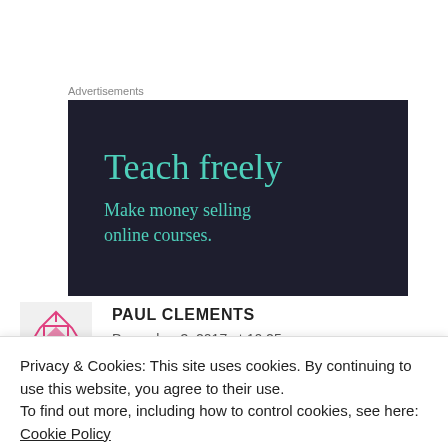Advertisements
[Figure (illustration): Dark navy advertisement box with teal text reading 'Teach freely' as large heading and 'Make money selling online courses.' as subheading]
PAUL CLEMENTS
December 3, 2017 at 10:25 am
Privacy & Cookies: This site uses cookies. By continuing to use this website, you agree to their use.
To find out more, including how to control cookies, see here: Cookie Policy
Close and accept
spent many hours with my mother tearing their hair out with